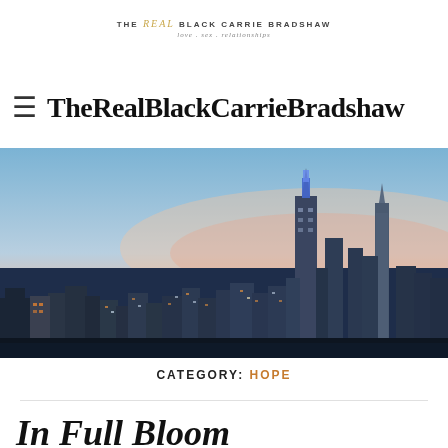THE REAL BLACK CARRIE BRADSHAW
love.sex.relationships
TheRealBlackCarrieBradshaw
[Figure (photo): New York City skyline at dusk/twilight showing skyscrapers including the Empire State Building illuminated in blue and purple, with a pink and blue gradient sky]
CATEGORY: HOPE
In Full Bloom